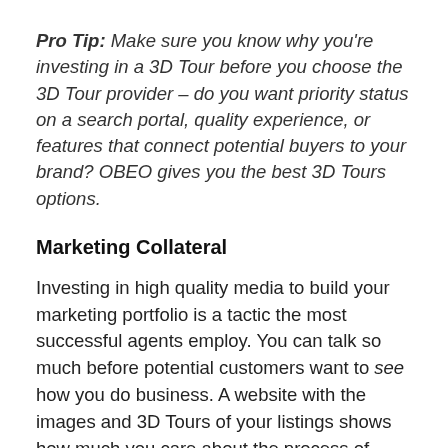Pro Tip: Make sure you know why you're investing in a 3D Tour before you choose the 3D Tour provider – do you want priority status on a search portal, quality experience, or features that connect potential buyers to your brand? OBEO gives you the best 3D Tours options.
Marketing Collateral
Investing in high quality media to build your marketing portfolio is a tactic the most successful agents employ. You can talk so much before potential customers want to see how you do business. A website with the images and 3D Tours of your listings shows how much you care about the process of listing properties.